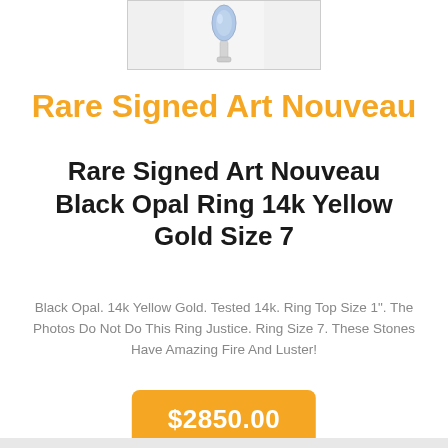[Figure (photo): Partial product photo of a ring with a blue/opal stone set in metal, cropped at top of page]
Rare Signed Art Nouveau
Rare Signed Art Nouveau Black Opal Ring 14k Yellow Gold Size 7
Black Opal. 14k Yellow Gold. Tested 14k. Ring Top Size 1". The Photos Do Not Do This Ring Justice. Ring Size 7. These Stones Have Amazing Fire And Luster!
$2850.00